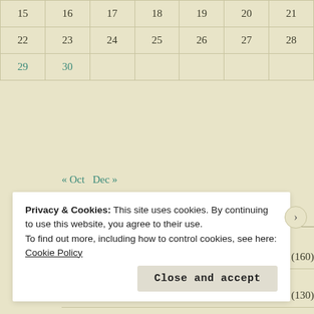| 15 | 16 | 17 | 18 | 19 | 20 | 21 |
| 22 | 23 | 24 | 25 | 26 | 27 | 28 |
| 29 | 30 |  |  |  |  |  |
« Oct   Dec »
CATEGORIES
animals (160)
art (130)
Privacy & Cookies: This site uses cookies. By continuing to use this website, you agree to their use. To find out more, including how to control cookies, see here: Cookie Policy
Close and accept